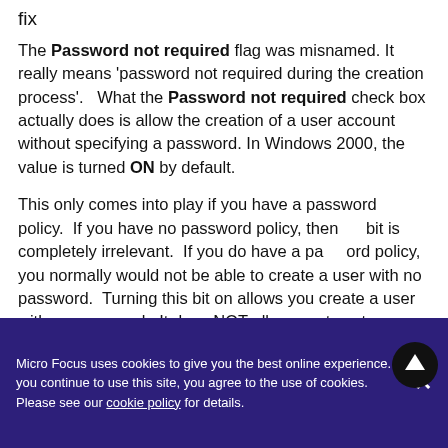fix
The Password not required flag was misnamed. It really means 'password not required during the creation process'.   What the Password not required check box actually does is allow the creation of a user account without specifying a password. In Windows 2000, the value is turned ON by default.
This only comes into play if you have a password policy.  If you have no password policy, then this bit is completely irrelevant.  If you do have a password policy, you normally would not be able to create a user with no password.  Turning this bit on allows you create a user with no password.  It does NOT allow you to set a password that violates the
Micro Focus uses cookies to give you the best online experience. If you continue to use this site, you agree to the use of cookies. Please see our cookie policy for details.